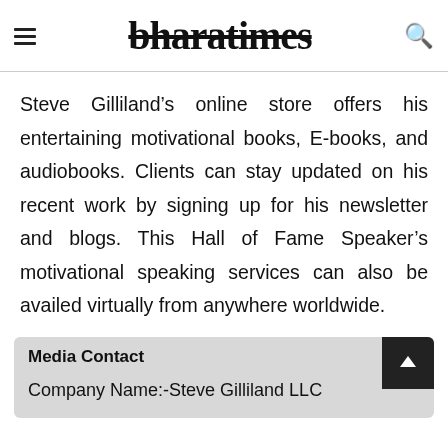bharatimes
Steve Gilliland’s online store offers his entertaining motivational books, E-books, and audiobooks. Clients can stay updated on his recent work by signing up for his newsletter and blogs. This Hall of Fame Speaker’s motivational speaking services can also be availed virtually from anywhere worldwide.
Media Contact
Company Name:-Steve Gilliland LLC